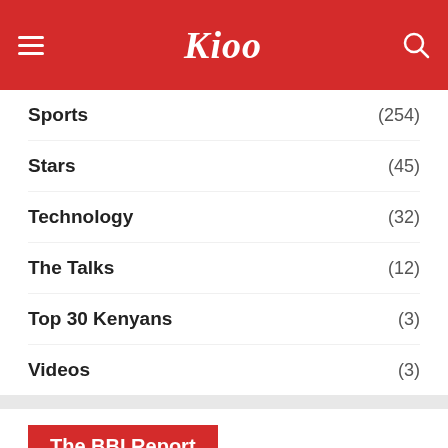Kioo
Sports (254)
Stars (45)
Technology (32)
The Talks (12)
Top 30 Kenyans (3)
Videos (3)
The BBI Report
[Figure (screenshot): Video thumbnail showing 'Kioo Street Revisit on BBI' with Kioo logo overlay and street scene background]